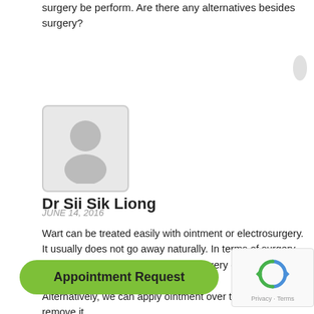surgery be perform. Are there any alternatives besides surgery?
[Figure (illustration): Avatar placeholder image of a person silhouette in a grey rounded square box]
Dr Sii Sik Liong
JUNE 14, 2016
Wart can be treated easily with ointment or electrosurgery. It usually does not go away naturally. In terms of surgery, it can be removed with an electro surgery device which takes about 5 minutes.
Alternatively, we can apply ointment over the wart to remove it.
http://www.drtanandpartners.com/where-to-find-us/
Appointment Request